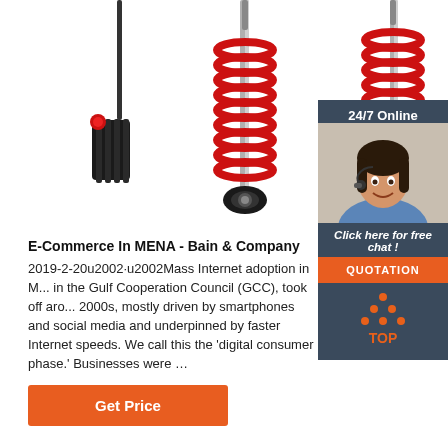[Figure (photo): Three red coil spring shock absorbers on white background, plus a customer service agent sidebar with '24/7 Online' label]
E-Commerce In MENA - Bain & Company 2019-2-20u2002·u2002Mass Internet adoption in M... in the Gulf Cooperation Council (GCC), took off aro... 2000s, mostly driven by smartphones and social media and underpinned by faster Internet speeds. We call this the 'digital consumer phase.' Businesses were ...
[Figure (other): Orange 'Get Price' button]
[Figure (other): TOP arrow icon in orange dots with 'TOP' text]